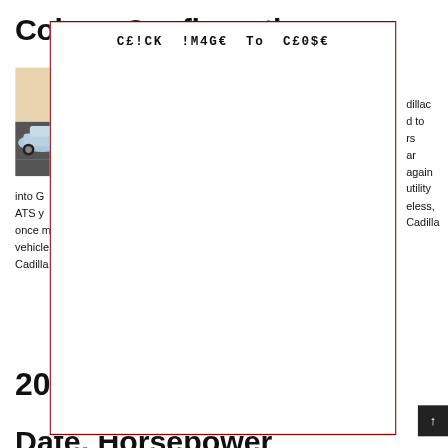Colors, Configurations
[Figure (photo): Photo of a silver Cadillac sports car on a road, partially obscured by modal overlay]
...dillac ...d to ...rs ...ar ...again ...utility ...eless, Cadilla...
into G... ATS y... once m... vehicle... Cadilla...
[Figure (screenshot): Modal dialog overlay with dark red border containing text 'CLICK IMAGE TO CLOSE' in monospace font]
202
Date, Horsepower